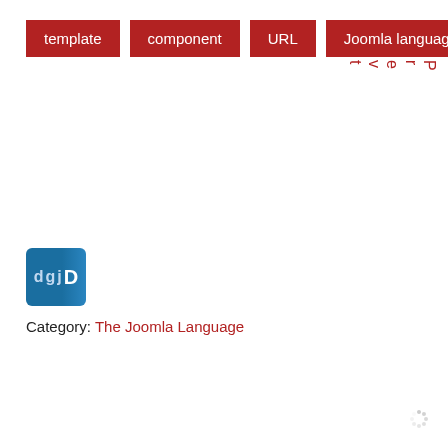template
component
URL
Joomla language
Prevt
[Figure (logo): dgjD logo in blue rounded rectangle]
Category: The Joomla Language